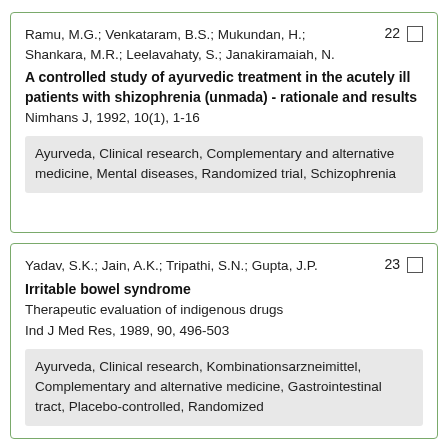Ramu, M.G.; Venkataram, B.S.; Mukundan, H.; Shankara, M.R.; Leelavahaty, S.; Janakiramaiah, N. [22]
A controlled study of ayurvedic treatment in the acutely ill patients with shizophrenia (unmada) - rationale and results
Nimhans J, 1992, 10(1), 1-16
Ayurveda, Clinical research, Complementary and alternative medicine, Mental diseases, Randomized trial, Schizophrenia
Yadav, S.K.; Jain, A.K.; Tripathi, S.N.; Gupta, J.P. [23]
Irritable bowel syndrome
Therapeutic evaluation of indigenous drugs
Ind J Med Res, 1989, 90, 496-503
Ayurveda, Clinical research, Kombinationsarzneimittel, Complementary and alternative medicine, Gastrointestinal tract, Placebo-controlled, Randomized